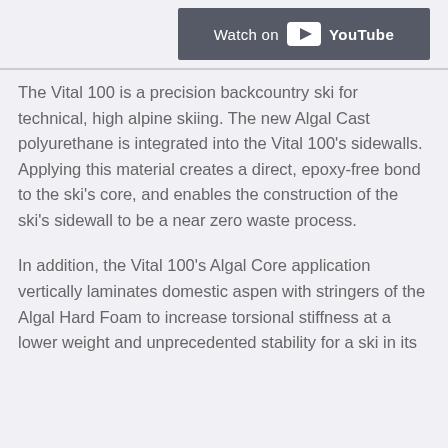[Figure (screenshot): YouTube 'Watch on YouTube' button on a light gray background]
The Vital 100 is a precision backcountry ski for technical, high alpine skiing. The new Algal Cast polyurethane is integrated into the Vital 100's sidewalls. Applying this material creates a direct, epoxy-free bond to the ski's core, and enables the construction of the ski's sidewall to be a near zero waste process.
In addition, the Vital 100's Algal Core application vertically laminates domestic aspen with stringers of the Algal Hard Foam to increase torsional stiffness at a lower weight and unprecedented stability for a ski in its